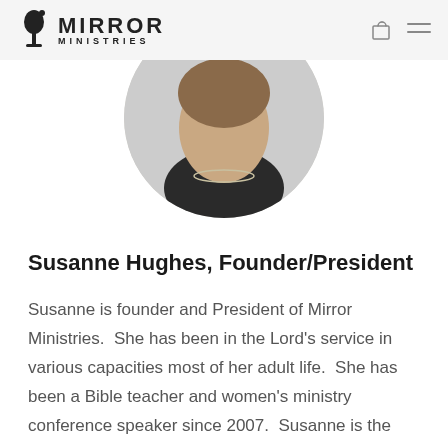Mirror Ministries
[Figure (photo): Circular cropped portrait photo of Susanne Hughes]
Susanne Hughes, Founder/President
Susanne is founder and President of Mirror Ministries.  She has been in the Lord's service in various capacities most of her adult life.  She has been a Bible teacher and women's ministry conference speaker since 2007.  Susanne is the author of Everyday Parables: Hearing God's Voice in the Simple...